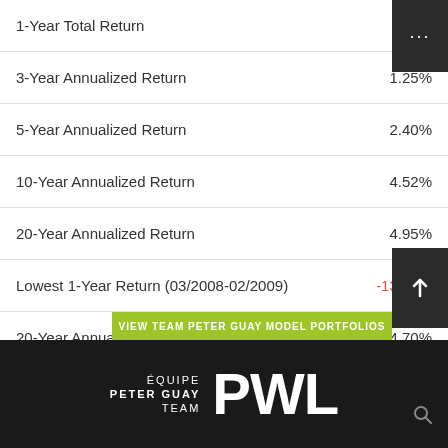| Metric | Value |
| --- | --- |
| 1-Year Total Return |  |
| 3-Year Annualized Return | 1.25% |
| 5-Year Annualized Return | 2.40% |
| 10-Year Annualized Return | 4.52% |
| 20-Year Annualized Return | 4.95% |
| Lowest 1-Year Return (03/2008-02/2009) | -13.14% |
| 20-Year Annualized Standard Deviation | 4.70% |
[Figure (logo): Équipe Peter Guay Team PWL logo in white text on dark background]
VIEW TEAM PETER GUAY MODEL PORTFOLIOS